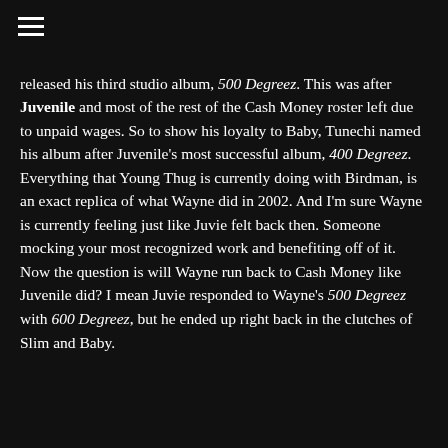≡
released his third studio album, 500 Degreez. This was after Juvenile and most of the rest of the Cash Money roster left due to unpaid wages. So to show his loyalty to Baby, Tunechi named his album after Juvenile's most successful album, 400 Degreez. Everything that Young Thug is currently doing with Birdman, is an exact replica of what Wayne did in 2002. And I'm sure Wayne is currently feeling just like Juvie felt back then. Someone mocking your most recognized work and benefiting off of it. Now the question is will Wayne run back to Cash Money like Juvenile did? I mean Juvie responded to Wayne's 500 Degreez with 600 Degreez, but he ended up right back in the clutches of Slim and Baby.